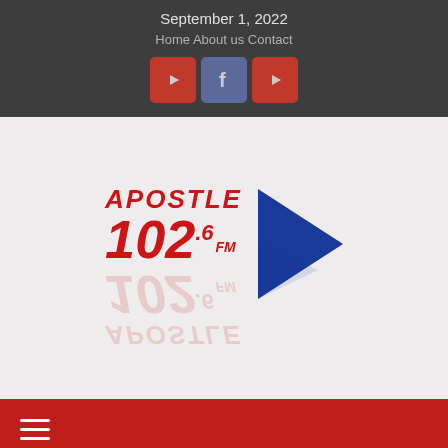September 1, 2022
Home   About us   Contact
[Figure (logo): Social media icon buttons: YouTube (red), Facebook (blue-gray), YouTube (red)]
[Figure (logo): Apostle 102.6 FM radio station logo with red text and blue play arrow, with reflection effect]
[Figure (other): Red navigation bar with hamburger menu and back-to-top arrow button]